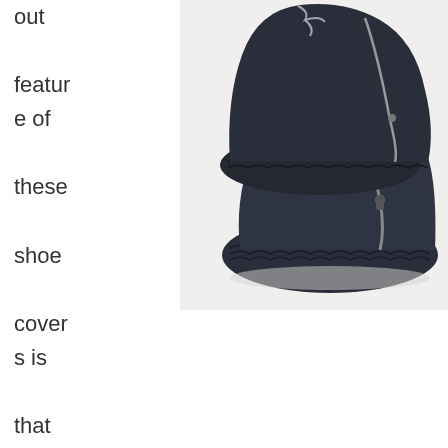out feature of these shoe covers is that they are
[Figure (photo): Two dark navy/black silicone waterproof shoe covers with zipper and textured rubber sole, shown stacked on a white background.]
equipped with a waterproof zipper strip design, helping the users to wear and remove these shoe covers easily. Stretchable silicone that is used in the construction of these shoe covers protects the shoes and boots of the users from rainwater and wastewater, hence extending the